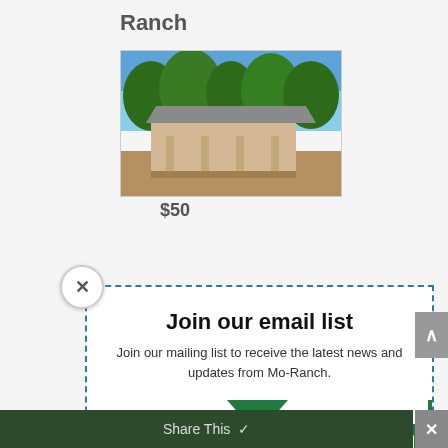Ranch
[Figure (photo): Photograph of a ranch building with trees and blue sky in background]
Join our email list
Join our mailing list to receive the latest news and updates from Mo-Ranch.
Email
SUBSCRIBE!
Share This ∨